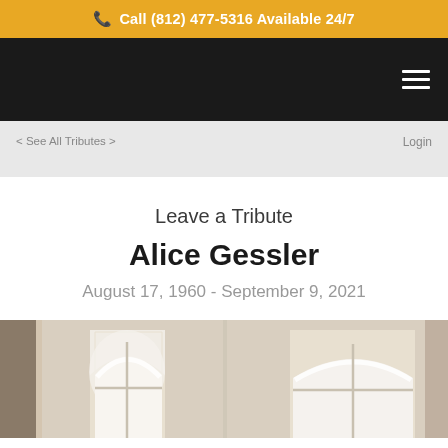📞 Call (812) 477-5316 Available 24/7
< See All Tributes >
Login
Leave a Tribute
Alice Gessler
August 17, 1960 - September 9, 2021
[Figure (photo): Interior architectural photo showing arched windows with white trim and natural light]